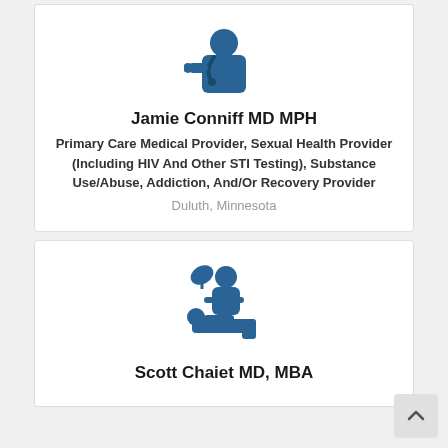[Figure (illustration): Blue icon of a doctor/medical provider with stethoscope]
Jamie Conniff MD MPH
Primary Care Medical Provider, Sexual Health Provider (Including HIV And Other STI Testing), Substance Use/Abuse, Addiction, And/Or Recovery Provider
Duluth, Minnesota
[Figure (illustration): Blue icon of a medical provider performing a procedure on a patient]
Scott Chaiet MD, MBA